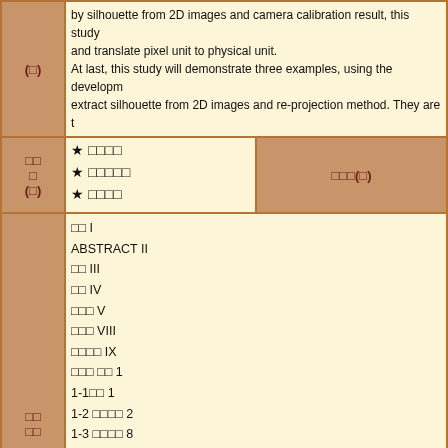by silhouette from 2D images and camera calibration result, this study and translate pixel unit to physical unit. At last, this study will demonstrate three examples, using the development extract silhouette from 2D images and re-projection method. They are t
★ □□□□
★ □□□□□
★ □□□□
□□□(□)
| □□ I |
| ABSTRACT II |
| □□ III |
| □□ IV |
| □□□ V |
| □□□ VIII |
| □□□□ IX |
| □□□ □□ 1 |
| 1-1□□ 1 |
| 1-2 □□□□ 2 |
| 1-3 □□□□ 8 |
| 1-4 □□□□ 8 |
| 1-5 □□□□ 9 |
| □□□ □□□□ 10 |
| 2-1 □□□□□ 10 |
| 2-2 □□□□ 12 |
| 2-3 □□□□□ 16 |
| 2-4 □□□□ 18 |
| 2-5 □□□□□□□ 21 |
| □□□ □□□□□□□2D□□□□□□□ 26 |